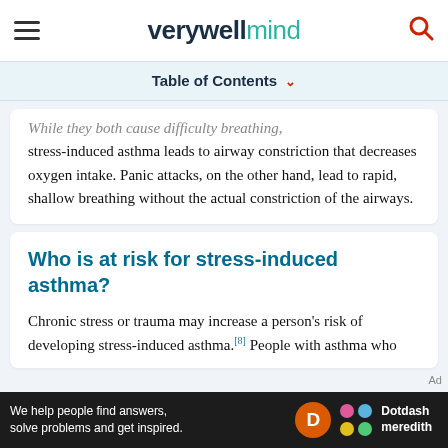verywell mind
Table of Contents
While they both cause difficulty breathing, stress-induced asthma leads to airway constriction that decreases oxygen intake. Panic attacks, on the other hand, lead to rapid, shallow breathing without the actual constriction of the airways.
Who is at risk for stress-induced asthma?
Chronic stress or trauma may increase a person's risk of developing stress-induced asthma.[8] People with asthma who
We help people find answers, solve problems and get inspired. Dotdash meredith Ad